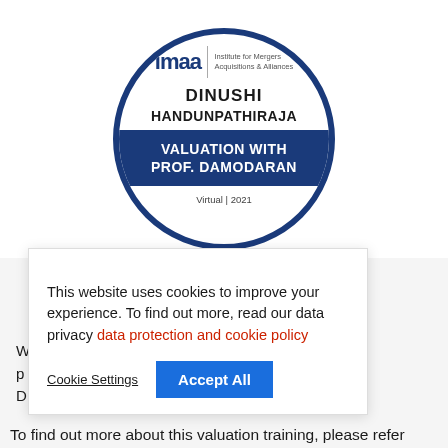[Figure (logo): IMAA certification badge circle for Dinushi Handunpathiraja - Valuation with Prof. Damodaran, Virtual 2021]
This website uses cookies to improve your experience. To find out more, read our data privacy data protection and cookie policy
Cookie Settings   Accept All
athiraja has Prof. Aswath D
To find out more about this valuation training, please refer